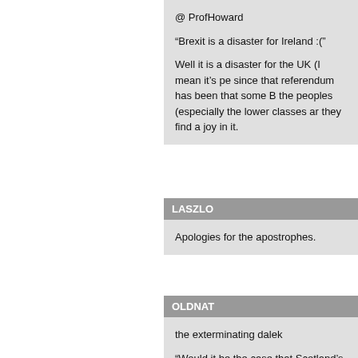@ ProfHoward

“Brexit is a disaster for Ireland :(”

Well it is a disaster for the UK (I mean it’s pe since that referendum has been that some B the peoples (especially the lower classes ar they find a joy in it.
LASZLO
Apologies for the apostrophes.
OLDNAT
the exterminating dalek

“Would it be the case that Scotland’s stv sys things to both vote without such a sense of v

Almost certainly.